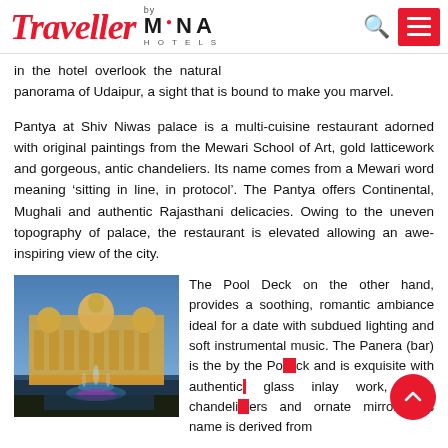Traveller by MANA HOTELS
in the hotel overlook the natural panorama of Udaipur, a sight that is bound to make you marvel.
Pantya at Shiv Niwas palace is a multi-cuisine restaurant adorned with original paintings from the Mewari School of Art, gold latticework and gorgeous, antic chandeliers. Its name comes from a Mewari word meaning ‘sitting in line, in protocol’. The Pantya offers Continental, Mughali and authentic Rajasthani delicacies. Owing to the uneven topography of palace, the restaurant is elevated allowing an awe-inspiring view of the city.
[Figure (photo): Night view of an illuminated palace with a fountain in the foreground, Udaipur]
The Pool Deck on the other hand, provides a soothing, romantic ambiance ideal for a date with subdued lighting and soft instrumental music. The Panera (bar) is the by the Pool Deck and is exquisite with authentic glass inlay work, huge chandeliers and ornate mirrors. Its name is derived from